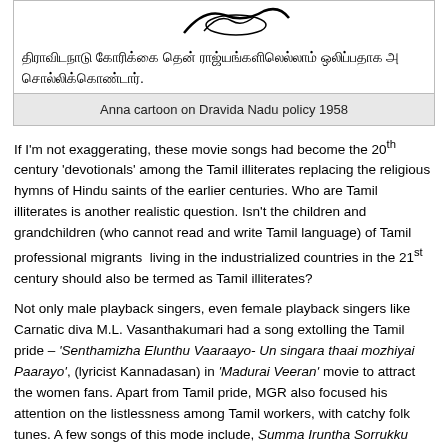[Figure (illustration): Partial view of an Anna cartoon on Dravida Nadu policy 1958, showing Tamil text below the image]
Anna cartoon on Dravida Nadu policy 1958
If I'm not exaggerating, these movie songs had become the 20th century 'devotionals' among the Tamil illiterates replacing the religious hymns of Hindu saints of the earlier centuries. Who are Tamil illiterates is another realistic question. Isn't the children and grandchildren (who cannot read and write Tamil language) of Tamil professional migrants  living in the industrialized countries in the 21st century should also be termed as Tamil illiterates?
Not only male playback singers, even female playback singers like Carnatic diva M.L. Vasanthakumari had a song extolling the Tamil pride – 'Senthamizha Elunthu Vaaraayo- Un singara thaai mozhiyai Paarayo', (lyricist Kannadasan) in 'Madurai Veeran' movie to attract the women fans. Apart from Tamil pride, MGR also focused his attention on the listlessness among Tamil workers, with catchy folk tunes. A few songs of this mode include, Summa Iruntha Sorrukku Nattam (If one idles, food will be lost; lyricist Udumalai Narayana Kavi) in Maduri Veeran movie and Thoongaathe Thambi Thoongathe – Nalla Somberi Enra Peyar Vaangaathe (Don't sleep brother – and gain the name as a weary fellow; lyricist Pattukottai Kalyanasundaram) in Madodi